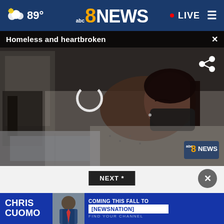89° abc8NEWS • LIVE ☰
Homeless and heartbroken
[Figure (screenshot): Woman in hospital bed wearing a black mask and hospital gown, lying in a hospital room. ABC8NEWS watermark visible in bottom right corner.]
NEXT *
[Figure (photo): Advertisement banner: CHRIS CUOMO COMING THIS FALL TO [NEWSNATION] FIND YOUR CHANNEL]
* By clicking Sign Me Up, you confirm you are 16+ and agree to our Privacy Policy and Terms of Service read and agree to the CivicScience Privacy Policy and Terms of Service